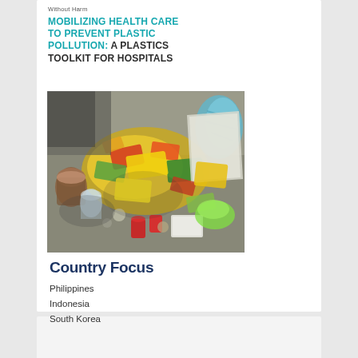Without Harm
MOBILIZING HEALTH CARE TO PREVENT PLASTIC POLLUTION: A PLASTICS TOOLKIT FOR HOSPITALS
[Figure (photo): Overhead photo of mixed plastic waste and garbage spread on a concrete surface, including plastic bags, food wrappers, bottles, cans, and other refuse]
Country Focus
Philippines
Indonesia
South Korea